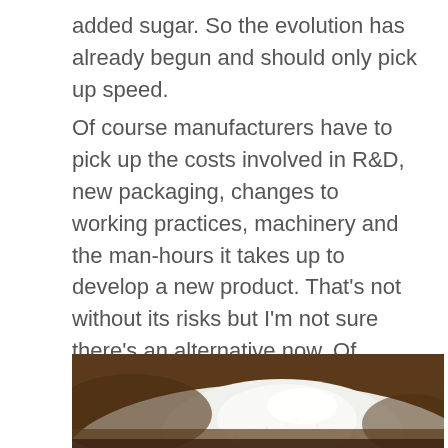added sugar. So the evolution has already begun and should only pick up speed.
Of course manufacturers have to pick up the costs involved in R&D, new packaging, changes to working practices, machinery and the man-hours it takes up to develop a new product. That's not without its risks but I'm not sure there's an alternative now. Of course in 20 years time no doubt some new 'science' will emerge to prove that sugar is in fact good for you. In between times though an alternative strategy is required.
[Figure (photo): A pile of white granulated sugar photographed from a low angle against a dark brown background, showing the texture of the sugar crystals.]